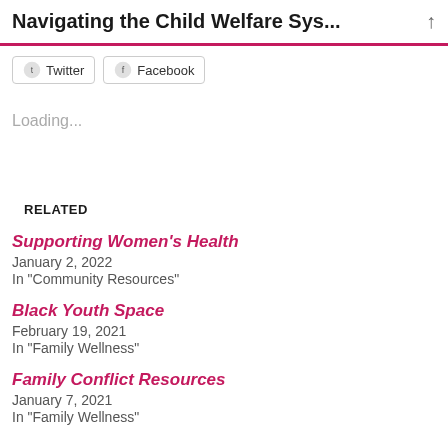Navigating the Child Welfare Sys...
[Figure (screenshot): Twitter and Facebook social share buttons]
Loading...
RELATED
Supporting Women's Health
January 2, 2022
In "Community Resources"
Black Youth Space
February 19, 2021
In "Family Wellness"
Family Conflict Resources
January 7, 2021
In "Family Wellness"